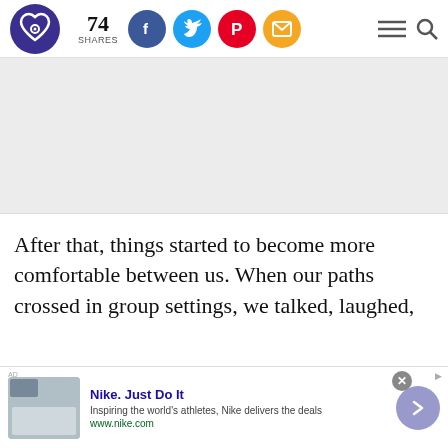74 SHARES — social sharing header with logo, Facebook, Twitter, Pinterest, Email buttons, menu and search icons
[Figure (other): Gray advertisement banner area (empty/placeholder)]
After that, things started to become more comfortable between us. When our paths crossed in group settings, we talked, laughed,
[Figure (other): Nike advertisement banner: 'Nike. Just Do It' — Inspiring the world's athletes, Nike delivers the deals — www.nike.com — with shoe image and navigation arrow]